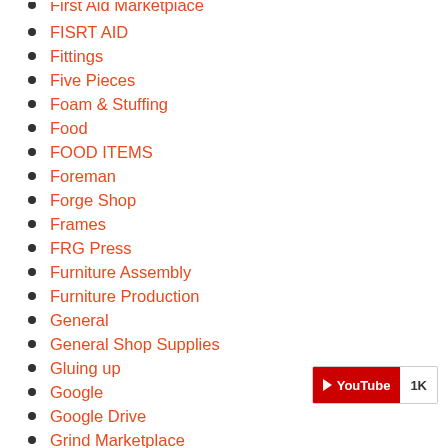First Aid Marketplace
FISRT AID
Fittings
Five Pieces
Foam & Stuffing
Food
FOOD ITEMS
Foreman
Forge Shop
Frames
FRG Press
Furniture Assembly
Furniture Production
General
General Shop Supplies
Gluing up
Google
Google Drive
Grind Marketplace
Grinder Marketplace